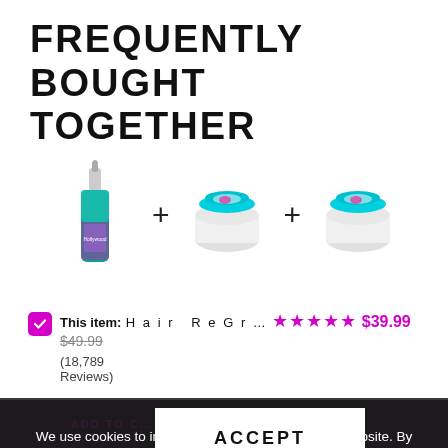FREQUENTLY BOUGHT TOGETHER
[Figure (illustration): Three product images in a row: a blue/teal hair serum bottle, plus sign, a white cream jar with colorful lid, plus sign, another white cream jar with colorful lid.]
This item: Hair ReGr... ★★★★★ $39.99 $49.99 (18,789 Reviews)
Growth Edge ... ★★★★★ $16.99 $24.99 (1,192 Reviews)
We use cookies to improve your experience on our website. By browsing this website, you agree to our use of cookies.
ACCEPT
ADD TO C... IT NOW